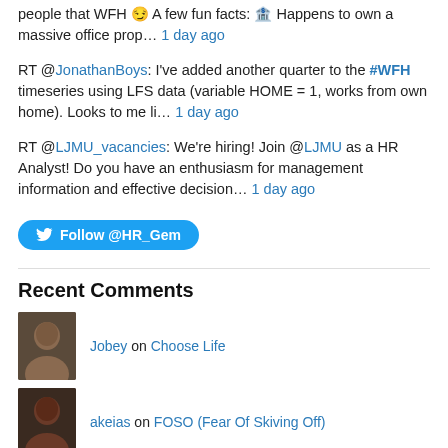people that WFH 😏 A few fun facts: 🏦 Happens to own a massive office prop… 1 day ago
RT @JonathanBoys: I've added another quarter to the #WFH timeseries using LFS data (variable HOME = 1, works from own home). Looks to me li… 1 day ago
RT @LJMU_vacancies: We're hiring! Join @LJMU as a HR Analyst! Do you have an enthusiasm for management information and effective decision… 1 day ago
[Figure (other): Blue Twitter follow button: Follow @HR_Gem]
Recent Comments
Jobey on Choose Life
akeias on FOSO (Fear Of Skiving Off)